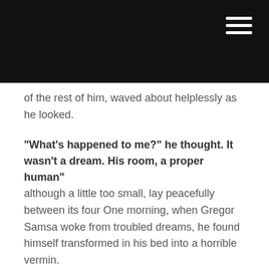of the rest of him, waved about helplessly as he looked.
“What’s happened to me?” he thought. It wasn’t a dream. His room, a proper human” although a little too small, lay peacefully between its four One morning, when Gregor Samsa woke from troubled dreams, he found himself transformed in his bed into a horrible vermin.
He lay on his armour-like back, and if he lifted his head a little he could see his brown belly, slightly domed and divided by arches into stiff